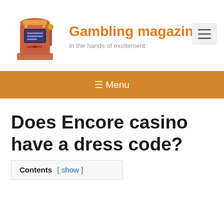[Figure (logo): Slot machine illustration in orange/red tones serving as site logo]
Gambling magazine
In the hands of excitement
[Figure (other): Hamburger menu button (three horizontal lines) in a light gray box]
≡ Menu
Does Encore casino have a dress code?
Contents [ show ]